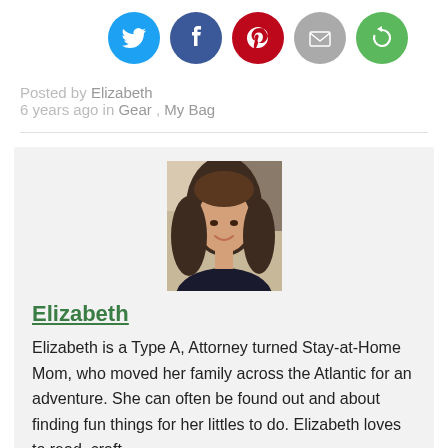[Figure (illustration): Row of five social media sharing icon circles: Twitter (blue bird), Facebook (blue f), Pinterest (red P), Email (grey envelope), Share (green circular arrow)]
Posted by Elizabeth
6 years ago in Gear , My Bag
[Figure (photo): Profile photo of Elizabeth, a young woman with long wavy brown hair, smiling, indoors.]
Elizabeth
Elizabeth is a Type A, Attorney turned Stay-at-Home Mom, who moved her family across the Atlantic for an adventure. She can often be found out and about finding fun things for her littles to do. Elizabeth loves to read, craft